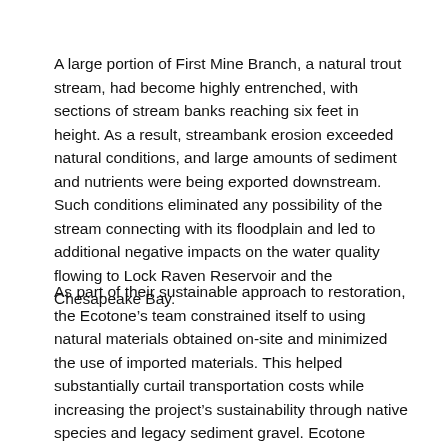A large portion of First Mine Branch, a natural trout stream, had become highly entrenched, with sections of stream banks reaching six feet in height. As a result, streambank erosion exceeded natural conditions, and large amounts of sediment and nutrients were being exported downstream. Such conditions eliminated any possibility of the stream connecting with its floodplain and led to additional negative impacts on the water quality flowing to Lock Raven Reservoir and the Chesapeake Bay.
As part of their sustainable approach to restoration, the Ecotone’s team constrained itself to using natural materials obtained on-site and minimized the use of imported materials. This helped substantially curtail transportation costs while increasing the project’s sustainability through native species and legacy sediment gravel. Ecotone utilized a state-of-